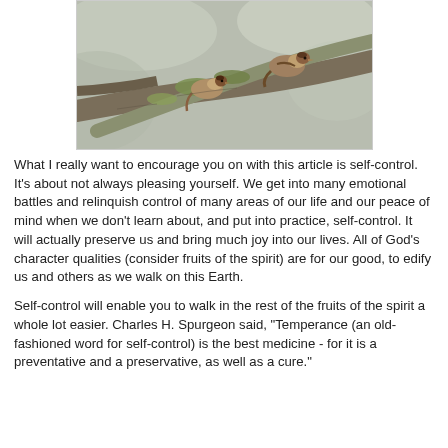[Figure (photo): Two sparrows perched on tree branches with lichen, blurred background]
What I really want to encourage you on with this article is self-control. It's about not always pleasing yourself. We get into many emotional battles and relinquish control of many areas of our life and our peace of mind when we don't learn about, and put into practice, self-control. It will actually preserve us and bring much joy into our lives. All of God's character qualities (consider fruits of the spirit) are for our good, to edify us and others as we walk on this Earth.
Self-control will enable you to walk in the rest of the fruits of the spirit a whole lot easier. Charles H. Spurgeon said, "Temperance (an old-fashioned word for self-control) is the best medicine - for it is a preventative and a preservative, as well as a cure."